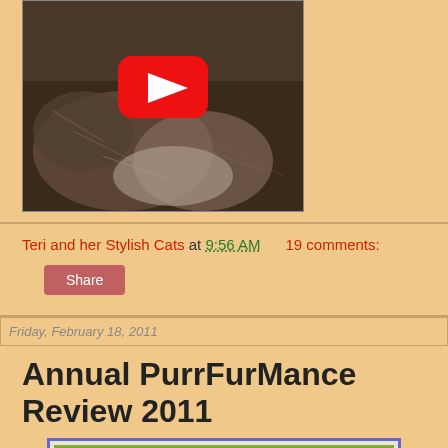[Figure (screenshot): YouTube video thumbnail showing fluffy cats, with a red YouTube play button overlay]
Teri and her Stylish Cats at 9:56 AM    19 comments:
Share
Friday, February 18, 2011
Annual PurrFurMance Review 2011
[Figure (illustration): Illustrated book/card cover reading 'THE 2010 ANNUAL PURR-FUR-MANCE REVIEW' with text 'Time to MOL – Time to BOL ...' and 'Truth and Lies Revealed Here On ...' with colorful border]